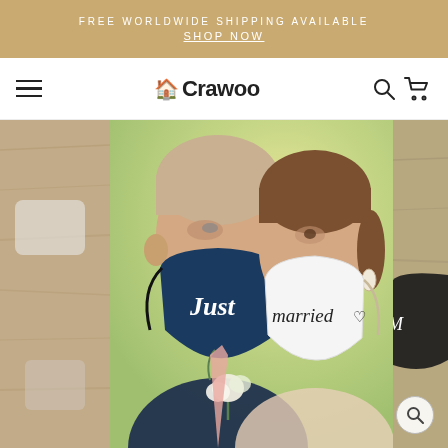FREE WORLDWIDE SHIPPING AVAILABLE
SHOP NOW
🏠Crawoo
[Figure (photo): A bride and groom wearing wedding face masks. The groom wears a navy blue mask reading 'Just' and the bride wears a white mask reading 'married♡'. They are looking at each other romantically. Side panels show additional products on a wooden surface background.]